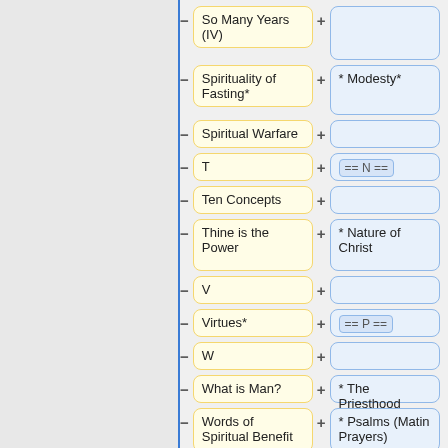[Figure (flowchart): A flowchart/tree structure showing expandable/collapsible items in two columns. Left column shows yellow boxes with labels (So Many Years (IV), Spirituality of Fasting*, Spiritual Warfare, T, Ten Concepts, Thine is the Power, V, Virtues*, W, What is Man?, Words of Spiritual Benefit (III)). Right column shows blue boxes with associated items (Modesty*, == N ==, * Nature of Christ, == P ==, * The Priesthood, * Psalms (Matin Prayers)). Minus/plus icons control expand/collapse.]